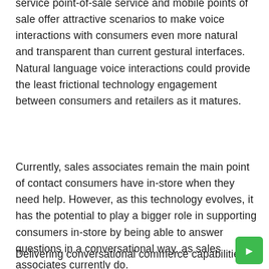service point-of-sale service and mobile points of sale offer attractive scenarios to make voice interactions with consumers even more natural and transparent than current gestural interfaces. Natural language voice interactions could provide the least frictional technology engagement between consumers and retailers as it matures.
Currently, sales associates remain the main point of contact consumers have in-store when they need help. However, as this technology evolves, it has the potential to play a bigger role in supporting consumers in-store by being able to answer questions in a conversational way, as sales associates currently do.
Delivering conversational commerce capabilities